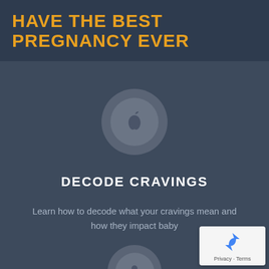HAVE THE BEST PREGNANCY EVER
[Figure (illustration): Gray circle icon with an apple symbol inside, representing food cravings during pregnancy]
DECODE CRAVINGS
Learn how to decode what your cravings mean and how they impact baby
[Figure (illustration): Gray circle icon with an information/person symbol, partially visible at bottom of page]
[Figure (logo): reCAPTCHA privacy badge with Privacy and Terms text]